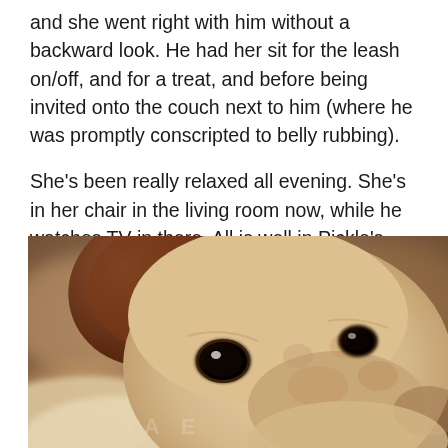and she went right with him without a backward look. He had her sit for the leash on/off, and for a treat, and before being invited onto the couch next to him (where he was promptly conscripted to belly rubbing).
She's been really relaxed all evening. She's in her chair in the living room now, while he watches TV in there. All is well in Pickle's house. :)
[Figure (photo): Close-up photo of a light-colored dog (appears to be a Greyhound or similar breed) with a brown ear visible, looking directly at the camera with soft dark eyes. Bokeh background with warm brown tones. Faint watermark text visible at bottom.]